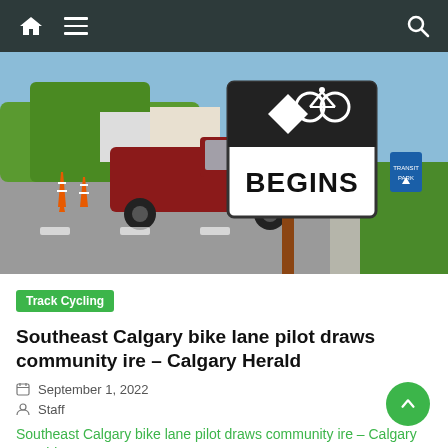Navigation bar with home, menu, and search icons
[Figure (photo): A bike lane 'BEGINS' sign on a road with a diamond and bicycle symbol on top. A red pickup truck is visible in the background along with orange traffic cones and green grass on the right side.]
Track Cycling
Southeast Calgary bike lane pilot draws community ire – Calgary Herald
September 1, 2022
Staff
Southeast Calgary bike lane pilot draws community ire – Calgary Herald